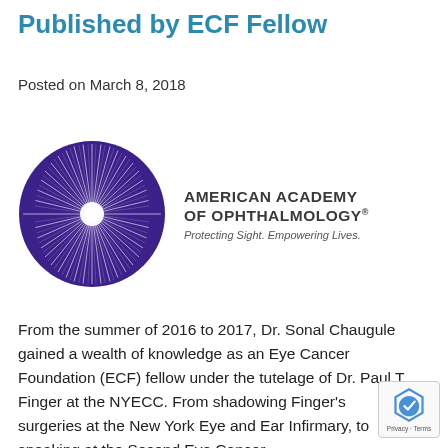Published by ECF Fellow
Posted on March 8, 2018
[Figure (logo): American Academy of Ophthalmology logo — purple circle with starburst pattern, text: AMERICAN ACADEMY OF OPHTHALMOLOGY® Protecting Sight. Empowering Lives.]
From the summer of 2016 to 2017, Dr. Sonal Chaugule gained a wealth of knowledge as an Eye Cancer Foundation (ECF) fellow under the tutelage of Dr. Paul T. Finger at the NYECC. From shadowing Finger's surgeries at the New York Eye and Ear Infirmary, to speaking at the Second Eye Cancer